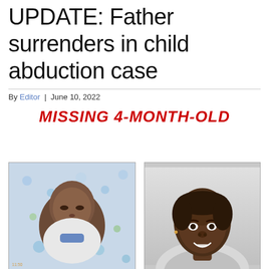UPDATE: Father surrenders in child abduction case
By Editor | June 10, 2022
MISSING 4-MONTH-OLD
[Figure (photo): Photo of a sleeping infant on a patterned blanket]
[Figure (photo): Headshot of a young adult male smiling, against a white/grey background]